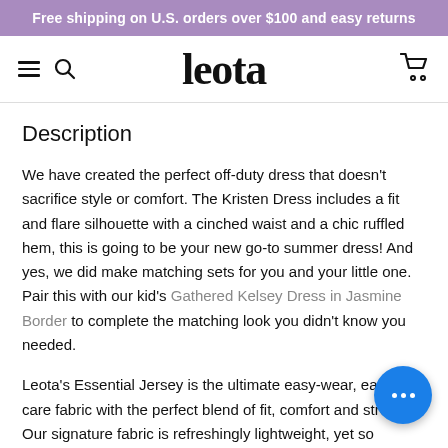Free shipping on U.S. orders over $100 and easy returns
leota
Description
We have created the perfect off-duty dress that doesn't sacrifice style or comfort. The Kristen Dress includes a fit and flare silhouette with a cinched waist and a chic ruffled hem, this is going to be your new go-to summer dress! And yes, we did make matching sets for you and your little one. Pair this with our kid's Gathered Kelsey Dress in Jasmine Border to complete the matching look you didn't know you needed.
Leota's Essential Jersey is the ultimate easy-wear, easy-care fabric with the perfect blend of fit, comfort and stretch. Our signature fabric is refreshingly lightweight, yet so smoothing and flattering. Did we mention washing machine-friendly? This